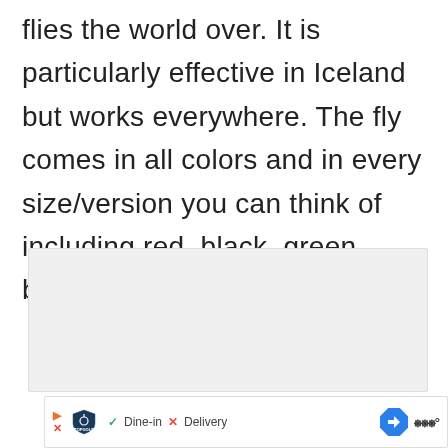flies the world over. It is particularly effective in Iceland but works everywhere. The fly comes in all colors and in every size/version you can think of including red, black, green, blue, and even pink.
[Figure (other): Light gray placeholder box representing an image or advertisement area, with three small dots at the bottom center indicating a carousel or pagination indicator.]
[Figure (other): Advertisement banner at the bottom showing Topgolf logo with play and X icons, checkmark with 'Dine-in', X with 'Delivery', a blue diamond arrow navigation icon, and Waze icon.]